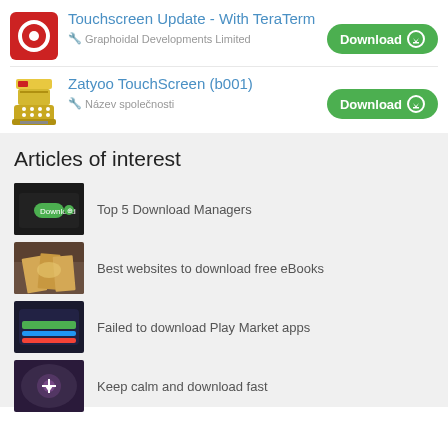Touchscreen Update - With TeraTerm
Graphoidal Developments Limited
Zatyoo TouchScreen (b001)
Název společnosti
Articles of interest
Top 5 Download Managers
Best websites to download free eBooks
Failed to download Play Market apps
Keep calm and download fast